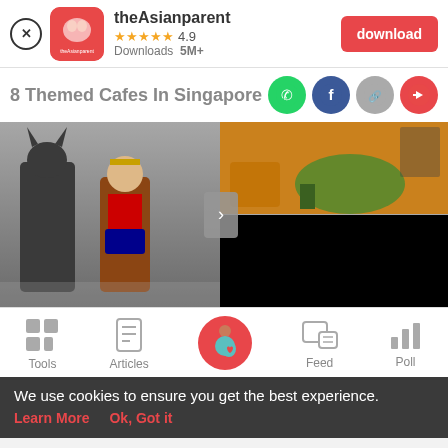[Figure (screenshot): theAsianparent app download banner with app icon, name, 4.9 star rating, 5M+ downloads, and red download button]
8 Themed Cafes In Singapore Your K
[Figure (photo): Image gallery with Batman and Wonder Woman costumes on left, orange-themed cafe interior top right, and black panel bottom right with navigation arrow]
[Figure (screenshot): Bottom navigation bar with Tools, Articles, center pregnant woman icon, Feed, and Poll options]
We use cookies to ensure you get the best experience.
Learn More   Ok, Got it